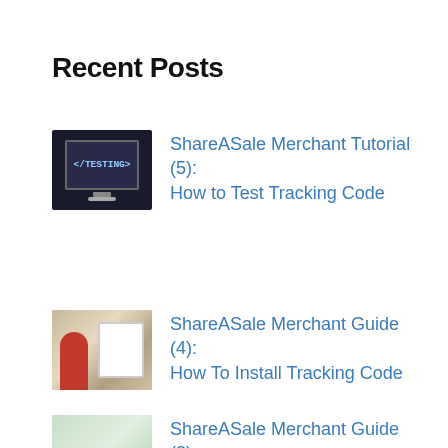Recent Posts
ShareASale Merchant Tutorial (5): How to Test Tracking Code
ShareASale Merchant Guide (4): How To Install Tracking Code
ShareASale Merchant Guide (3): How to Manage Affiliates